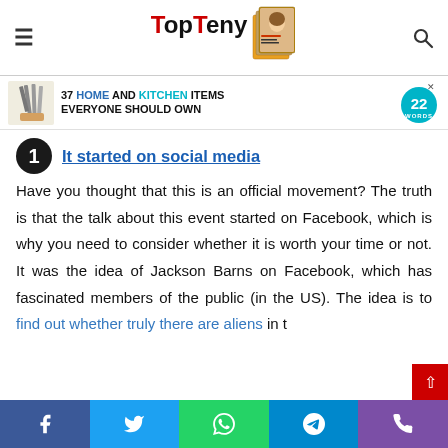TopTeny
[Figure (infographic): Advertisement banner: knife set image, text '37 HOME AND KITCHEN ITEMS EVERYONE SHOULD OWN', 22Words logo badge]
1 It started on social media
Have you thought that this is an official movement? The truth is that the talk about this event started on Facebook, which is why you need to consider whether it is worth your time or not. It was the idea of Jackson Barns on Facebook, which has fascinated members of the public (in the US). The idea is to find out whether truly there are aliens in
Social share buttons: Facebook, Twitter, WhatsApp, Telegram, Phone